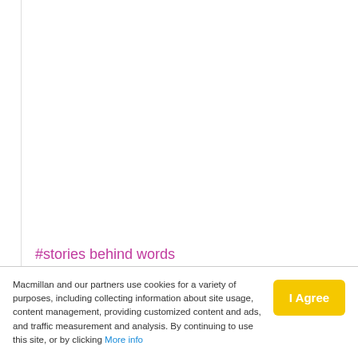#stories behind words
[Figure (logo): Facebook button - blue rectangle with white Facebook 'f' icon]
Macmillan and our partners use cookies for a variety of purposes, including collecting information about site usage, content management, providing customized content and ads, and traffic measurement and analysis. By continuing to use this site, or by clicking More info